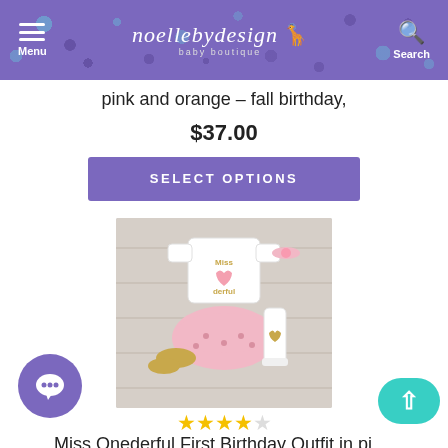noellebydesign baby boutique — Menu | Search
pink and orange – fall birthday,
$37.00
SELECT OPTIONS
[Figure (photo): Baby girl 'Miss Onederful' first birthday outfit laid flat on wood surface: white onesie with Miss Onederful text and heart, pink polka-dot tutu skirt, pink flower headband, gold shoes, and white leg warmer with gold heart print.]
★★★★☆
Miss Onederful First Birthday Outfit in pink and bla...